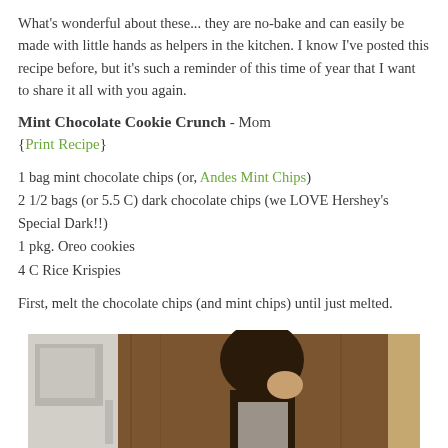What's wonderful about these... they are no-bake and can easily be made with little hands as helpers in the kitchen. I know I've posted this recipe before, but it's such a reminder of this time of year that I want to share it all with you again.
Mint Chocolate Cookie Crunch - Mom
{Print Recipe}
1 bag mint chocolate chips (or, Andes Mint Chips)
2 1/2 bags (or 5.5 C) dark chocolate chips (we LOVE Hershey's Special Dark!!)
1 pkg. Oreo cookies
4 C Rice Krispies
First, melt the chocolate chips (and mint chips) until just melted.
[Figure (photo): Photo of a person with dark hair bent over in a kitchen with wooden cabinets and a microwave visible on the left side.]